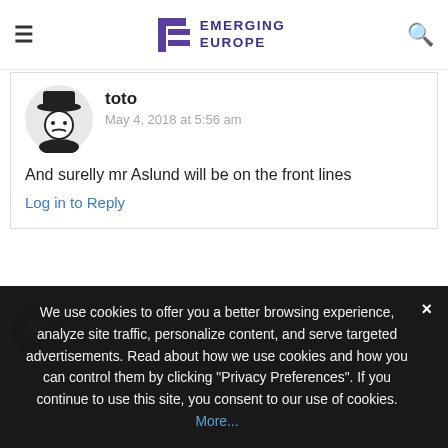Emerging Europe
toto
May 4, 2018 at 5:56 am
And surelly mr Aslund will be on the front lines
Log in to Reply
We use cookies to offer you a better browsing experience, analyze site traffic, personalize content, and serve targeted advertisements. Read about how we use cookies and how you can control them by clicking "Privacy Preferences". If you continue to use this site, you consent to our use of cookies. More...